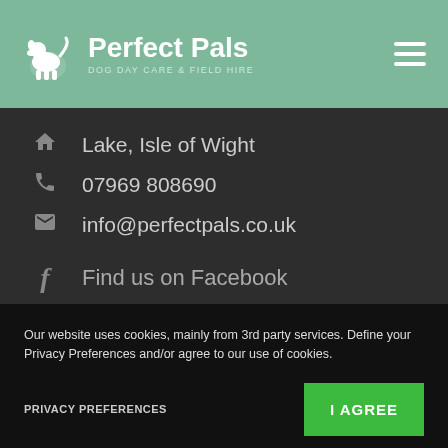[Figure (logo): Perfect Pals dog day care logo with dog silhouette icon, brand name and tagline 'DOG DAY CARE & FIELD HIRE']
Lake, Isle of Wight
07969 808690
info@perfectpals.co.uk
Find us on Facebook
Our website uses cookies, mainly from 3rd party services. Define your Privacy Preferences and/or agree to our use of cookies.
PRIVACY PREFERENCES
I AGREE
2022 Perfect Pals, Lake, Isle of Wight Dog Day Care & Field Hire
Licence Number: 20/00768/LIDOG